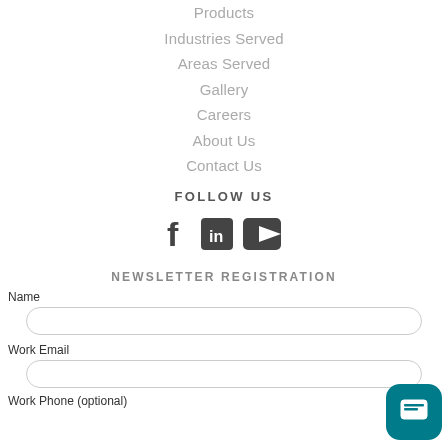Products
Industries Served
Areas Served
Gallery
Careers
About Us
Contact Us
FOLLOW US
[Figure (infographic): Social media icons: Facebook (f), LinkedIn (in square), YouTube (play button square)]
NEWSLETTER REGISTRATION
Name
Work Email
Work Phone (optional)